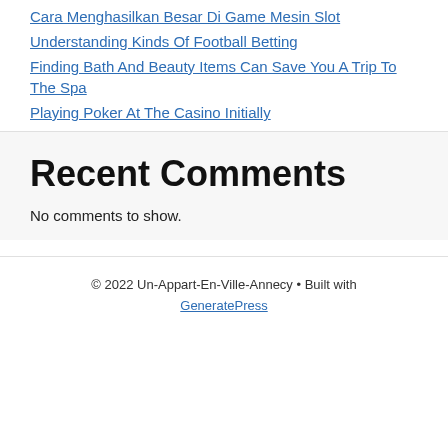Cara Menghasilkan Besar Di Game Mesin Slot
Understanding Kinds Of Football Betting
Finding Bath And Beauty Items Can Save You A Trip To The Spa
Playing Poker At The Casino Initially
Recent Comments
No comments to show.
© 2022 Un-Appart-En-Ville-Annecy • Built with GeneratePress